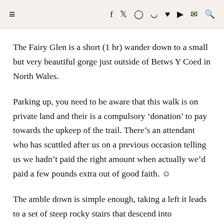≡  f  𝕏  ⊙  ⊕  ♥  ▶  ✉  🔍
The Fairy Glen is a short (1hr) wander down to a small but very beautiful gorge just outside of Betws Y Coed in North Wales.
Parking up, you need to be aware that this walk is on private land and their is a compulsory 'donation' to pay towards the upkeep of the trail. There's an attendant who has scuttled after us on a previous occasion telling us we hadn't paid the right amount when actually we'd paid a few pounds extra out of good faith. ☺
The amble down is simple enough, taking a left it leads to a set of steep rocky stairs that descend into